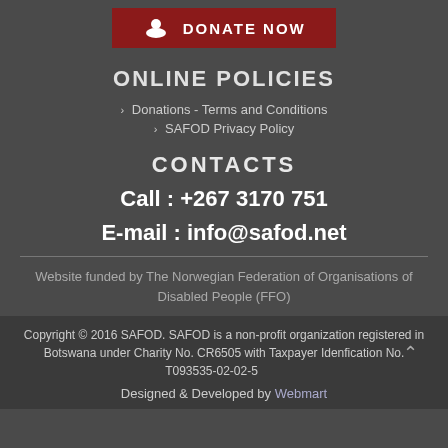[Figure (other): Red donate now button with hand/heart icon]
ONLINE POLICIES
> Donations - Terms and Conditions
> SAFOD Privacy Policy
CONTACTS
Call : +267 3170 751
E-mail : info@safod.net
Website funded by The Norwegian Federation of Organisations of Disabled People (FFO)
Copyright © 2016 SAFOD. SAFOD is a non-profit organization registered in Botswana under Charity No. CR6505 with Taxpayer Idenfication No. T093535-02-02-5
Designed & Developed by Webmart